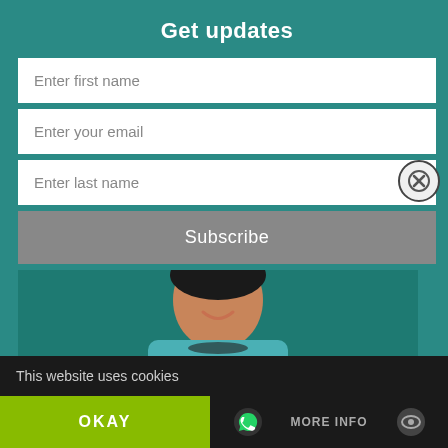Get updates
Enter first name
Enter your email
Enter last name
Subscribe
[Figure (photo): Book cover banner for 'For the Love of God - A Fictional Story Based on My True Experience' featuring a smiling woman in a teal/dark setting. Shows 'For the Love of God Part 2 – Letting Go' text.]
For the Love of God
A Fictional Story Based on My True Experience
For the Love of God Part 2 – Letting Go
This website uses cookies
OKAY
MORE INFO